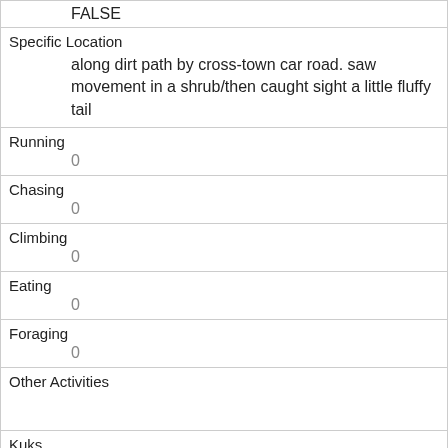| FALSE |
| Specific Location | along dirt path by cross-town car road. saw movement in a shrub/then caught sight a little fluffy tail |
| Running | 0 |
| Chasing | 0 |
| Climbing | 0 |
| Eating | 0 |
| Foraging | 0 |
| Other Activities |  |
| Kuks | 0 |
| Quaas | 0 |